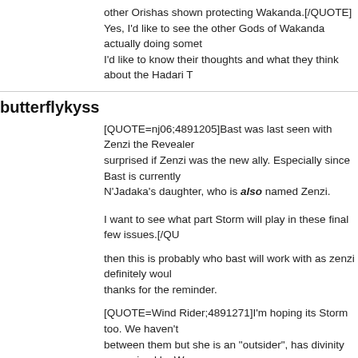other Orishas shown protecting Wakanda.[/QUOTE]
Yes, I'd like to see the other Gods of Wakanda actually doing somet- I'd like to know their thoughts and what they think about the Hadari T
butterflykyss
[QUOTE=nj06;4891205]Bast was last seen with Zenzi the Revealer... surprised if Zenzi was the new ally. Especially since Bast is currently N'Jadaka's daughter, who is [I][B]also[/B][/I] named Zenzi. I want to see what part Storm will play in these final few issues.[/QUOTE]
then this is probably who bast will work with as zenzi definitely woul- thanks for the reminder.
[QUOTE=Wind Rider;4891271]I'm hoping its Storm too. We haven't- between them but she is an "outsider", has divinity recognized by W- seen them interact. I'd live for Bast to call in a return favor from Oro- [/QUOTE]
I would too boo but after reading nj06 post it seems the most likely p- though love to see a callback to wap.
Not sure about that BB but even if...